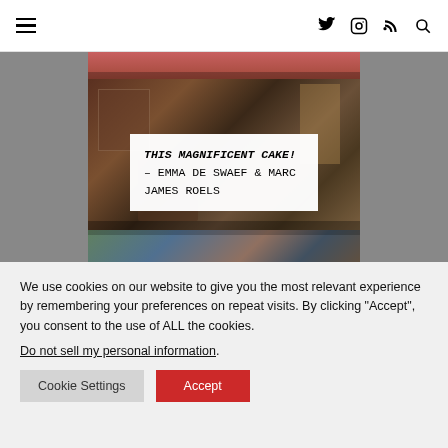Navigation header with hamburger menu and social icons (Twitter, Instagram, RSS, Search)
[Figure (photo): Film stills from 'This Magnificent Cake!' by Emma de Swaef & Marc James Roels — three stacked cropped images showing animated movie scenes with figures in a richly decorated interior]
THIS MAGNIFICENT CAKE! – EMMA DE SWAEF & MARC JAMES ROELS
We use cookies on our website to give you the most relevant experience by remembering your preferences on repeat visits. By clicking "Accept", you consent to the use of ALL the cookies.
Do not sell my personal information.
Cookie Settings
Accept